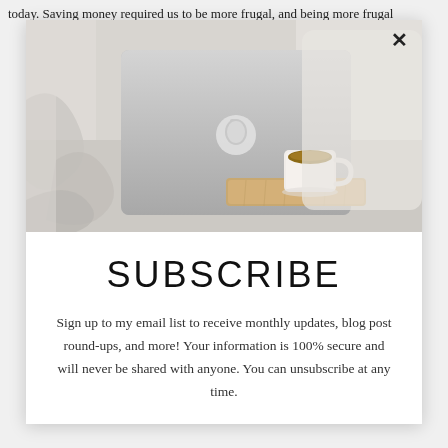today. Saving money required us to be more frugal, and being more frugal
[Figure (photo): Apple MacBook laptop on rumpled white bed linens next to a white coffee cup on a small wooden tray]
SUBSCRIBE
Sign up to my email list to receive monthly updates, blog post round-ups, and more! Your information is 100% secure and will never be shared with anyone. You can unsubscribe at any time.